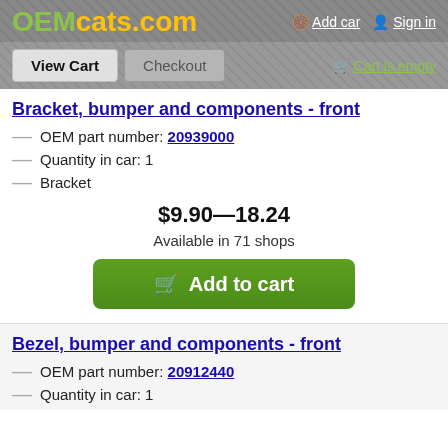OEMcats.com — Add car  Sign in  View Cart  Checkout  Cart is empty
Bracket, bumper and components - front
OEM part number: 20939000
Quantity in car: 1
Bracket
$9.90—18.24
Available in 71 shops
Add to cart
Bezel, bumper and components - front
OEM part number: 20912440
Quantity in car: 1